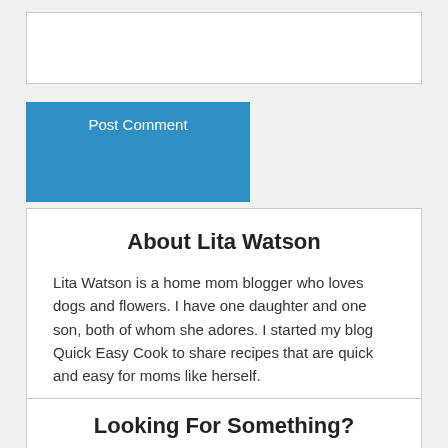[Figure (other): Empty text input/comment box with light grey border]
Post Comment
About Lita Watson
Lita Watson is a home mom blogger who loves dogs and flowers. I have one daughter and one son, both of whom she adores. I started my blog Quick Easy Cook to share recipes that are quick and easy for moms like herself.
Looking For Something?